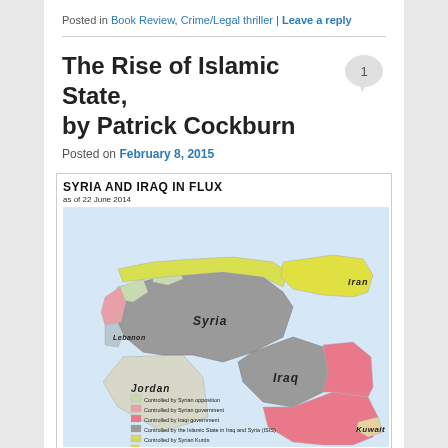Posted in Book Review, Crime/Legal thriller | Leave a reply
The Rise of Islamic State, by Patrick Cockburn
Posted on February 8, 2015
[Figure (map): Map titled 'SYRIA AND IRAQ IN FLUX as of 22 June 2014' showing Syria, Iraq, Jordan, Lebanon, Iran, Kuwait with color-coded regions: Controlled by Syrian opposition (light green), Controlled by Syrian government (pink/salmon), Controlled by Iraqi government (pink), Controlled by the Islamic State in Iraq and Syria (ISIS) (gray), Controlled by Syrian Kurds, Controlled by Iraqi Kurds (yellow)]